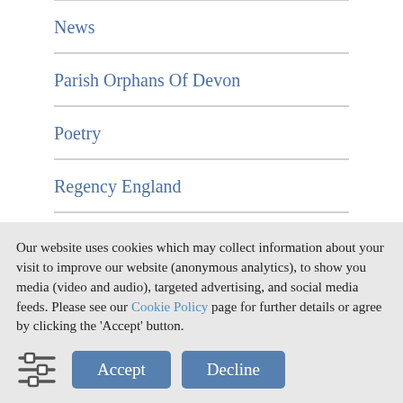News
Parish Orphans Of Devon
Poetry
Regency England
Romance
The Crinoline Academy
Our website uses cookies which may collect information about your visit to improve our website (anonymous analytics), to show you media (video and audio), targeted advertising, and social media feeds. Please see our Cookie Policy page for further details or agree by clicking the 'Accept' button.